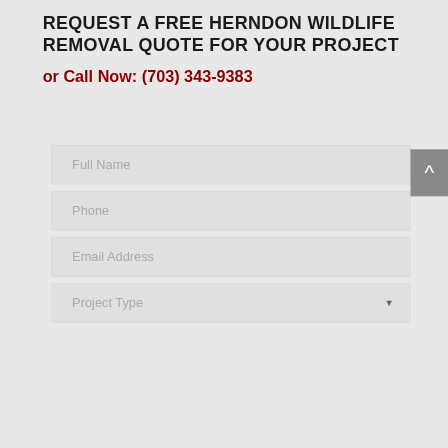REQUEST A FREE HERNDON WILDLIFE REMOVAL QUOTE FOR YOUR PROJECT
or Call Now: (703) 343-9383
[Figure (screenshot): Form field with placeholder text 'Full Name']
[Figure (screenshot): Form field with placeholder text 'Phone']
[Figure (screenshot): Form field with placeholder text 'Email Address']
[Figure (screenshot): Dropdown form field with placeholder text 'Project Type']